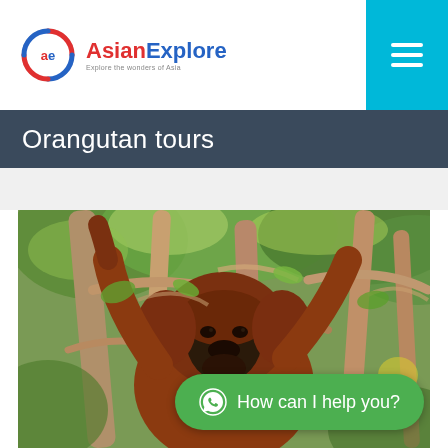[Figure (logo): AsianExplore logo with circular red/blue icon and company name]
Orangutan tours
[Figure (photo): Close-up photo of an orangutan hanging in trees in a jungle forest setting]
How can I help you?